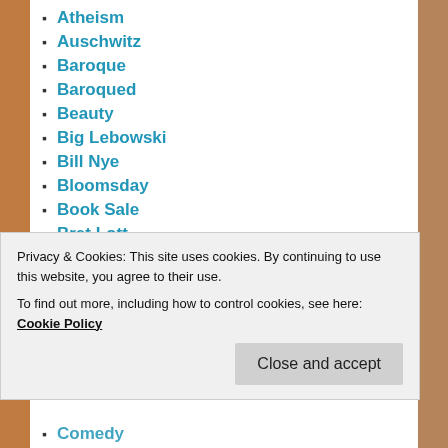Atheism
Auschwitz
Baroque
Baroqued
Beauty
Big Lebowski
Bill Nye
Bloomsday
Book Sale
Bret Lott
Brother Roger
Carol Zaleski
Catherine Pickstock
Catholic
Privacy & Cookies: This site uses cookies. By continuing to use this website, you agree to their use. To find out more, including how to control cookies, see here: Cookie Policy
Comedy